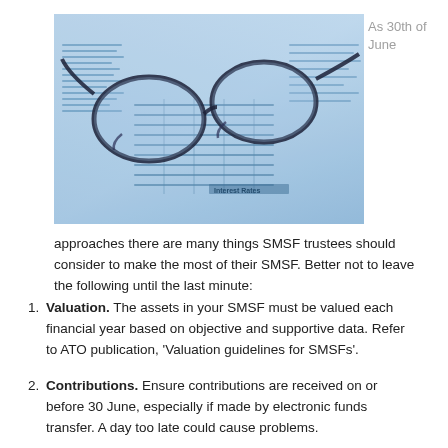[Figure (photo): A photograph of reading glasses resting on a financial newspaper showing interest rates tables and financial data, with a blue tint overlay.]
As 30th of June
approaches there are many things SMSF trustees should consider to make the most of their SMSF. Better not to leave the following until the last minute:
Valuation. The assets in your SMSF must be valued each financial year based on objective and supportive data. Refer to ATO publication, 'Valuation guidelines for SMSFs'.
Contributions. Ensure contributions are received on or before 30 June, especially if made by electronic funds transfer. A day too late could cause problems.